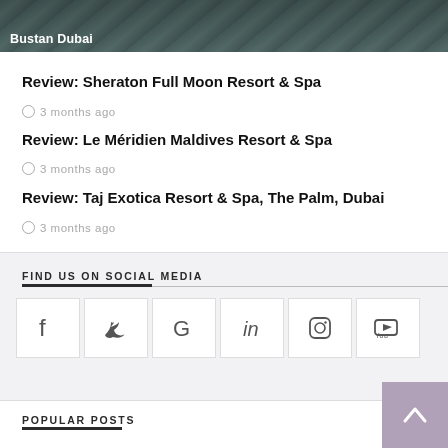[Figure (photo): Dark teal/green decorative background image with text overlay 'Bustan Dubai']
Review: Sheraton Full Moon Resort & Spa
3 months ago
Review: Le Méridien Maldives Resort & Spa
3 months ago
Review: Taj Exotica Resort & Spa, The Palm, Dubai
3 months ago
FIND US ON SOCIAL MEDIA
[Figure (infographic): Social media icons: Facebook, Twitter, Google, LinkedIn, Instagram, YouTube]
POPULAR POSTS